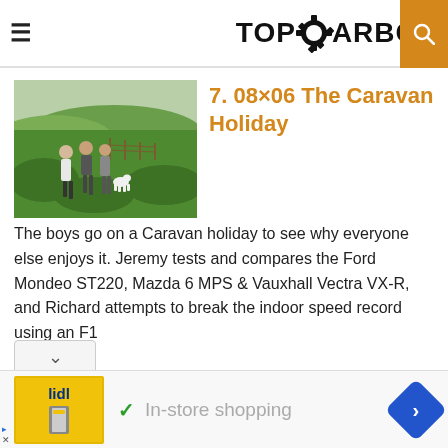TOPGEARBOX
7. 08×06 The Caravan Holiday
[Figure (photo): Three people walking along a green countryside path with fencing and fields in the background.]
The boys go on a Caravan holiday to see why everyone else enjoys it. Jeremy tests and compares the Ford Mondeo ST220, Mazda 6 MPS & Vauxhall Vectra VX-R, and Richard attempts to break the indoor speed record using an F1